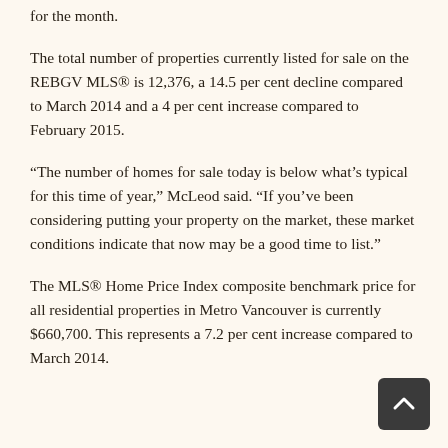for the month.
The total number of properties currently listed for sale on the REBGV MLS® is 12,376, a 14.5 per cent decline compared to March 2014 and a 4 per cent increase compared to February 2015.
“The number of homes for sale today is below what’s typical for this time of year,” McLeod said. “If you’ve been considering putting your property on the market, these market conditions indicate that now may be a good time to list.”
The MLS® Home Price Index composite benchmark price for all residential properties in Metro Vancouver is currently $660,700. This represents a 7.2 per cent increase compared to March 2014.